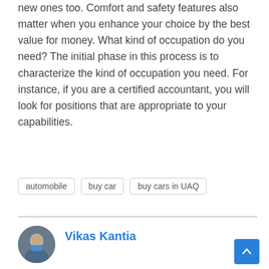new ones too. Comfort and safety features also matter when you enhance your choice by the best value for money. What kind of occupation do you need? The initial phase in this process is to characterize the kind of occupation you need. For instance, if you are a certified accountant, you will look for positions that are appropriate to your capabilities.
automobile
buy car
buy cars in UAQ
Vikas Kantia